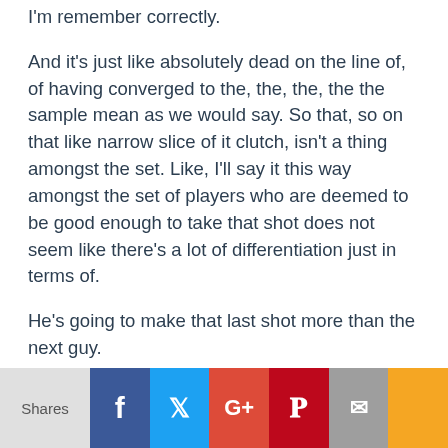I'm remember correctly.
And it's just like absolutely dead on the line of, of having converged to the, the, the, the the sample mean as we would say. So that, so on that like narrow slice of it clutch, isn't a thing amongst the set. Like, I'll say it this way amongst the set of players who are deemed to be good enough to take that shot does not seem like there's a lot of differentiation just in terms of.
He's going to make that last shot more than the next guy.
[01:08:18] Mike Klinzing: It's almost a number of shots that they take because
Shares | Facebook | Twitter | G+ | Pinterest | Email